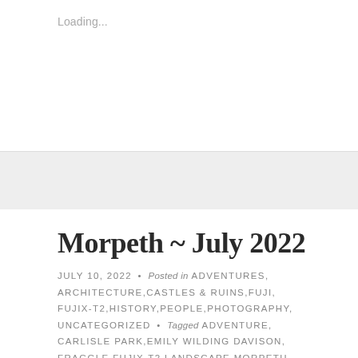Loading...
Morpeth ~ July 2022
JULY 10, 2022 • Posted in ADVENTURES, ARCHITECTURE, CASTLES & RUINS, FUJI, FUJIX-T2, HISTORY, PEOPLE, PHOTOGRAPHY, UNCATEGORIZED • Tagged ADVENTURE, CARLISLE PARK, EMILY WILDING DAVISON, FRAGGLE, FUJIX-T2, LANDSCAPE, MORPETH, NATURE, PHOTOGRAPHY, UK • 57 COMMENTS